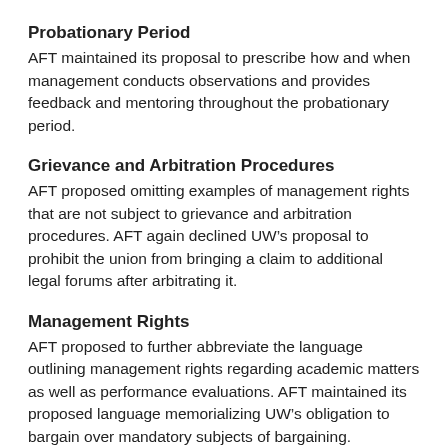Probationary Period
AFT maintained its proposal to prescribe how and when management conducts observations and provides feedback and mentoring throughout the probationary period.
Grievance and Arbitration Procedures
AFT proposed omitting examples of management rights that are not subject to grievance and arbitration procedures. AFT again declined UW’s proposal to prohibit the union from bringing a claim to additional legal forums after arbitrating it.
Management Rights
AFT proposed to further abbreviate the language outlining management rights regarding academic matters as well as performance evaluations. AFT maintained its proposed language memorializing UW’s obligation to bargain over mandatory subjects of bargaining.